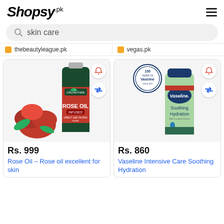[Figure (logo): Shopsy.pk logo in italic script font with hamburger menu icon]
skin care
thebeautyleague.pk
vegas.pk
[Figure (photo): Chiltan Pure Rose Oil Infused bottle, 250ml, Direct Use On Skin, with red roses]
Rs. 999
Rose Oil – Rose oil excellent for skin
[Figure (photo): Vaseline Intensive Care Soothing Hydration body lotion bottle in green, 150 Years of Vaseline badge]
Rs. 860
Vaseline Intensive Care Soothing Hydration